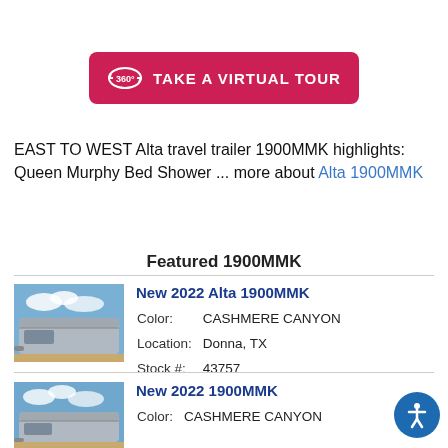[Figure (other): 360 Take a Virtual Tour button (pink/red rounded rectangle with 360 degree icon and text)]
EAST TO WEST Alta travel trailer 1900MMK highlights: Queen Murphy Bed Shower ... more about Alta 1900MMK
Featured 1900MMK
[Figure (photo): Photo of a silver travel trailer exterior against blue sky]
New 2022 Alta 1900MMK
Color: CASHMERE CANYON
Location: Donna, TX
Stock #: 43757
[Figure (photo): Photo of a silver travel trailer exterior against blue sky]
New 2022 1900MMK
Color: CASHMERE CANYON